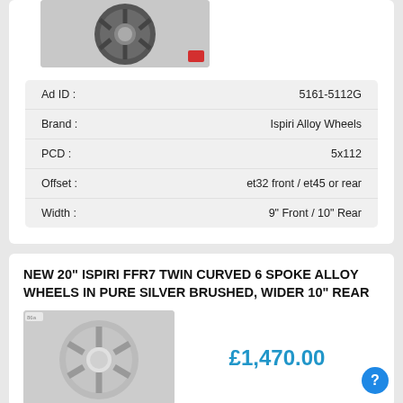[Figure (photo): Partial view of an alloy wheel in dark metallic/gunmetal finish against white background, with a small red button in corner]
| Ad ID : | 5161-5112G |
| Brand : | Ispiri Alloy Wheels |
| PCD : | 5x112 |
| Offset : | et32 front / et45 or rear |
| Width : | 9" Front / 10" Rear |
NEW 20" ISPIRI FFR7 TWIN CURVED 6 SPOKE ALLOY WHEELS IN PURE SILVER BRUSHED, WIDER 10" REAR
[Figure (photo): Silver brushed alloy wheel (Ispiri FFR7) with twin curved 6 spoke design]
£1,470.00